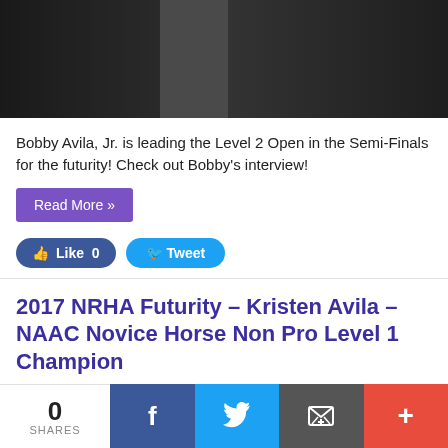[Figure (photo): Two people standing indoors, dark background, one wearing a North Face jacket]
Bobby Avila, Jr. is leading the Level 2 Open in the Semi-Finals for the futurity! Check out Bobby's interview!
Read More »
Like 0   Tweet
2017 NRHA Futurity – Kristen Avila – NAAC Novice Horse Non Pro Level 1 Champion
November 28, 2017   Events, Horse Shows, November 2017   57
[Figure (photo): Partial photo strip at bottom, dark image]
0 SHARES  [Facebook] [Twitter] [Email] [+]